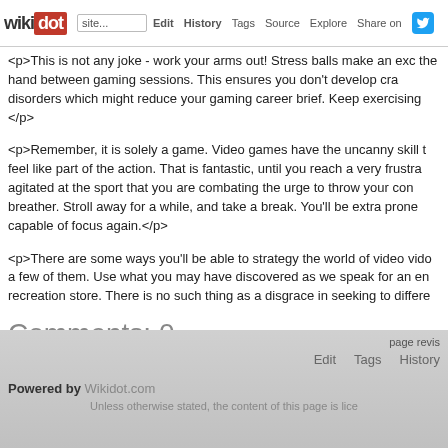wikidot | Edit | History | Tags | Source | Explore | Share on
<p>This is not any joke - work your arms out! Stress balls make an exc the hand between gaming sessions. This ensures you don't develop cra disorders which might reduce your gaming career brief. Keep exercising </p>
<p>Remember, it is solely a game. Video games have the uncanny skill t feel like part of the action. That is fantastic, until you reach a very frustra agitated at the sport that you are combating the urge to throw your con breather. Stroll away for a while, and take a break. You'll be extra prone capable of focus again.</p>
<p>There are some ways you'll be able to strategy the world of video vide a few of them. Use what you may have discovered as we speak for an en recreation store. There is no such thing as a disgrace in seeking to differe
Comments: 0
Add a New Comment
page revis
Edit    Tags    History
Powered by Wikidot.com
Unless otherwise stated, the content of this page is lice